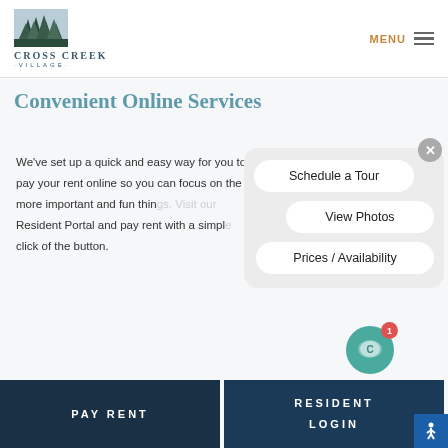Cross Creek Village — MENU
Convenient Online Services
We've set up a quick and easy way for you to pay your rent online so you can focus on the more important and fun things. Visit our Resident Portal and pay rent with a simple click of the button.
[Figure (screenshot): Popup menu with three rounded white buttons: Schedule a Tour, View Photos, Prices / Availability. Has a close (X) button.]
PAY RENT
RESIDENT LOGIN